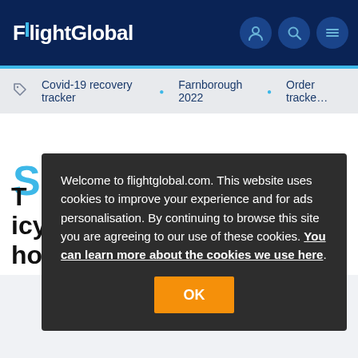FlightGlobal
Covid-19 recovery tracker · Farnborough 2022 · Order tracker
Welcome to flightglobal.com. This website uses cookies to improve your experience and for ads personalisation. By continuing to browse this site you are agreeing to our use of these cookies. You can learn more about the cookies we use here.
OK
T… icy runway within two hours